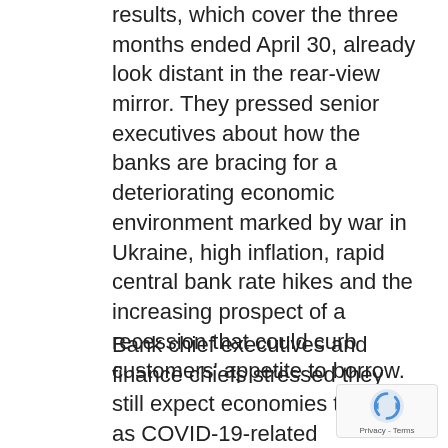results, which cover the three months ended April 30, already look distant in the rear-view mirror. They pressed senior executives about how the banks are bracing for a deteriorating economic environment marked by war in Ukraine, high inflation, rapid central bank rate hikes and the increasing prospect of a recession that could curb customers' appetite to borrow.
Bank chief executives and finance chiefs stressed they still expect economies to grow as COVID-19-related headwinds ease. They noted that most households are in good financial health, as many stashed away extra savings during the pandemic, while unemployment remains low in a tight labour market. Businesses are borrowing to bulk up inventories as demand for products outstrips supply, and